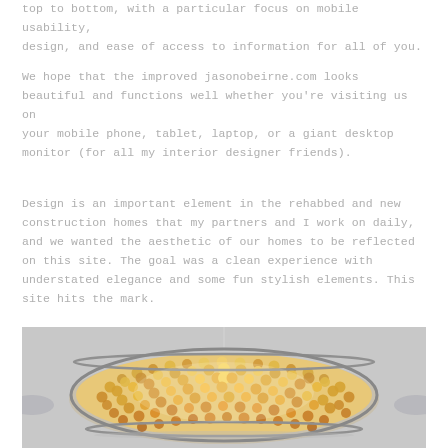top to bottom, with a particular focus on mobile usability, design, and ease of access to information for all of you.
We hope that the improved jasonobeirne.com looks beautiful and functions well whether you're visiting us on your mobile phone, tablet, laptop, or a giant desktop monitor (for all my interior designer friends).
Design is an important element in the rehabbed and new construction homes that my partners and I work on daily, and we wanted the aesthetic of our homes to be reflected on this site. The goal was a clean experience with understated elegance and some fun stylish elements. This site hits the mark.
[Figure (photo): A large crystal chandelier with a drum/disc shape, densely encrusted with crystal beads emitting warm golden light, photographed against a light gray background. Two smaller lights or fixtures are partially visible on the left and right edges.]